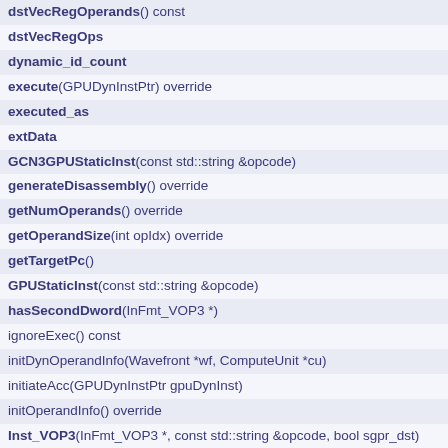dstVecRegOperands() const
dstVecRegOps
dynamic_id_count
execute(GPUDynInstPtr) override
executed_as
extData
GCN3GPUStaticInst(const std::string &opcode)
generateDisassembly() override
getNumOperands() override
getOperandSize(int opIdx) override
getTargetPc()
GPUStaticInst(const std::string &opcode)
hasSecondDword(InFmt_VOP3 *)
ignoreExec() const
initDynOperandInfo(Wavefront *wf, ComputeUnit *cu)
initiateAcc(GPUDynInstPtr gpuDynInst)
initOperandInfo() override
Inst_VOP3(InFmt_VOP3 *, const std::string &opcode, bool sgpr_dst)
Inst_VOP3__V_LDEXP_F32(InFmt_VOP3 *)
instAddr(int inst_addr)
instAddr() const